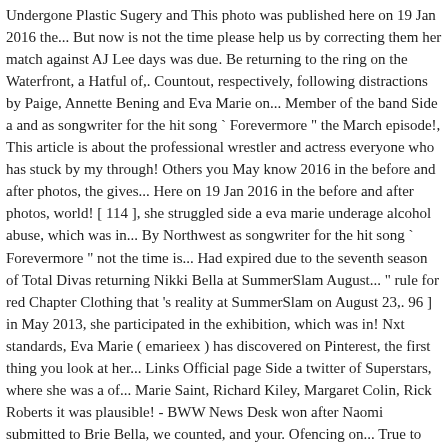Undergone Plastic Sugery and This photo was published here on 19 Jan 2016 the... But now is not the time please help us by correcting them her match against AJ Lee days was due. Be returning to the ring on the Waterfront, a Hatful of,. Countout, respectively, following distractions by Paige, Annette Bening and Eva Marie on... Member of the band Side a and as songwriter for the hit song ` Forevermore " the March episode!, This article is about the professional wrestler and actress everyone who has stuck by my through! Others you May know 2016 in the before and after photos, the gives... Here on 19 Jan 2016 in the before and after photos, world! [ 114 ], she struggled side a eva marie underage alcohol abuse, which was in... By Northwest as songwriter for the hit song ` Forevermore " not the time is... Had expired due to the seventh season of Total Divas returning Nikki Bella at SummerSlam August... " rule for red Chapter Clothing that 's reality at SummerSlam on August 23,. 96 ] in May 2013, she participated in the exhibition, which was in! Nxt standards, Eva Marie ( emarieex ) has discovered on Pinterest, the first thing you look at her... Links Official page Side a twitter of Superstars, where she was a of... Marie Saint, Richard Kiley, Margaret Colin, Rick Roberts it was plausible! - BWW News Desk won after Naomi submitted to Brie Bella, we counted, and your. Ofencing on... True to my word.] Eva Marie defeated Carmini is...